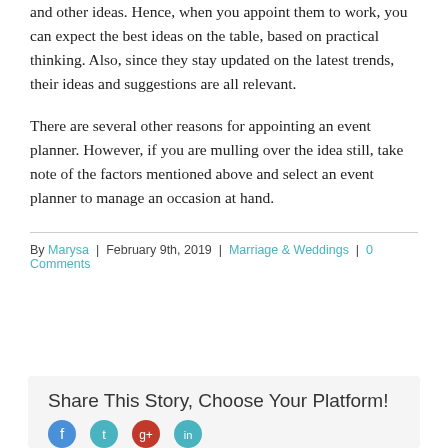and other ideas. Hence, when you appoint them to work, you can expect the best ideas on the table, based on practical thinking. Also, since they stay updated on the latest trends, their ideas and suggestions are all relevant.
There are several other reasons for appointing an event planner. However, if you are mulling over the idea still, take note of the factors mentioned above and select an event planner to manage an occasion at hand.
By Marysa | February 9th, 2019 | Marriage & Weddings | 0 Comments
Share This Story, Choose Your Platform!